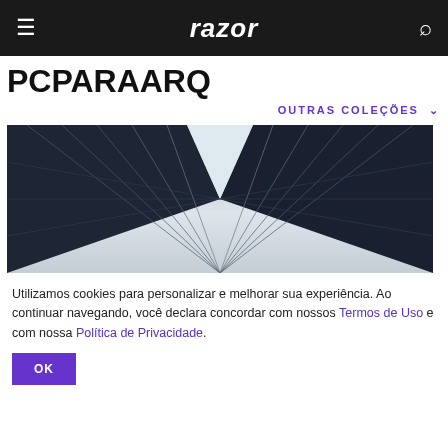razor
PCPARAARQ
OUTRAS COLEÇÕES ∨
[Figure (photo): Architectural photo of a modern glass building from a low angle, black and white / blue-grey tones, geometric diagonal lines of steel and glass panels converging toward the center top.]
Utilizamos cookies para personalizar e melhorar sua experiência. Ao continuar navegando, você declara concordar com nossos Termos de Uso e com nossa Política de Privacidade.
OK